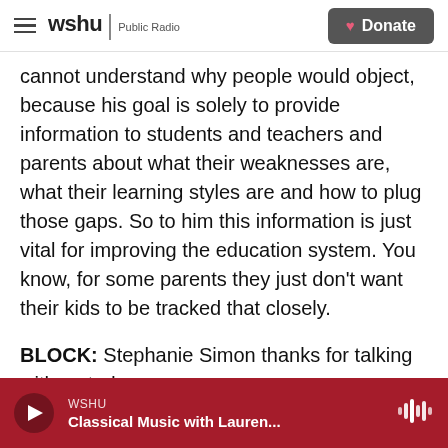wshu | Public Radio — Donate
cannot understand why people would object, because his goal is solely to provide information to students and teachers and parents about what their weaknesses are, what their learning styles are and how to plug those gaps. So to him this information is just vital for improving the education system. You know, for some parents they just don't want their kids to be tracked that closely.
BLOCK: Stephanie Simon thanks for talking with us today.
SIMON: Thank you.
WSHU — Classical Music with Lauren...